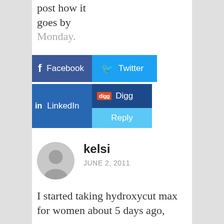post how it goes by Monday.
[Figure (screenshot): Social sharing buttons: Facebook, Twitter, LinkedIn, Digg, and Reply]
[Figure (illustration): Generic user avatar — grey circle with silhouette]
kelsi
JUNE 2, 2011
I started taking hydroxycut max for women about 5 days ago,